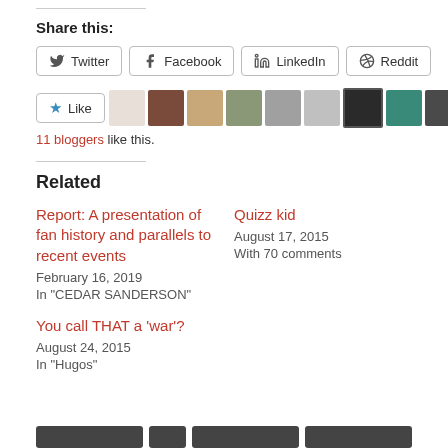Share this:
Twitter  Facebook  LinkedIn  Reddit
[Figure (screenshot): Like button with blue star icon, followed by a row of blogger avatar thumbnails]
11 bloggers like this.
Related
Report: A presentation of fan history and parallels to recent events
February 16, 2019
In "CEDAR SANDERSON"
Quizz kid
August 17, 2015
With 70 comments
You call THAT a 'war'?
August 24, 2015
In "Hugos"